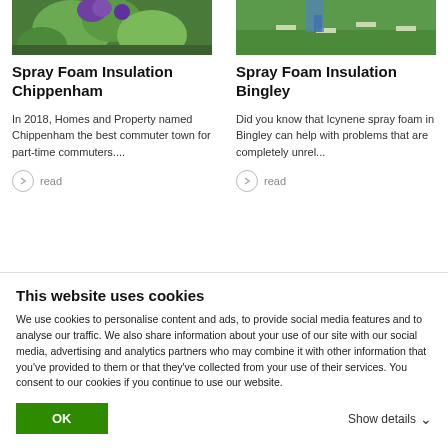[Figure (photo): Garden with purple flowers and green foliage]
Spray Foam Insulation Chippenham
In 2018, Homes and Property named Chippenham the best commuter town for part-time commuters....
read
[Figure (photo): Person walking on green lawn with stepping stones]
Spray Foam Insulation Bingley
Did you know that Icynene spray foam in Bingley can help with problems that are completely unrel...
read
This website uses cookies
We use cookies to personalise content and ads, to provide social media features and to analyse our traffic. We also share information about your use of our site with our social media, advertising and analytics partners who may combine it with other information that you've provided to them or that they've collected from your use of their services. You consent to our cookies if you continue to use our website.
OK
Show details